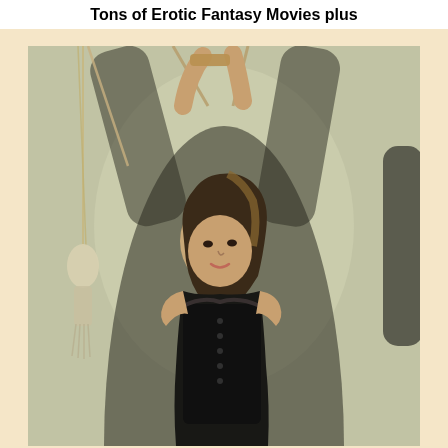Tons of Erotic Fantasy Movies plus
[Figure (photo): A woman in a black corset with her hands bound above her head with rope, posed against a floral wallpaper background with a decorative tassel hanging on the left side.]